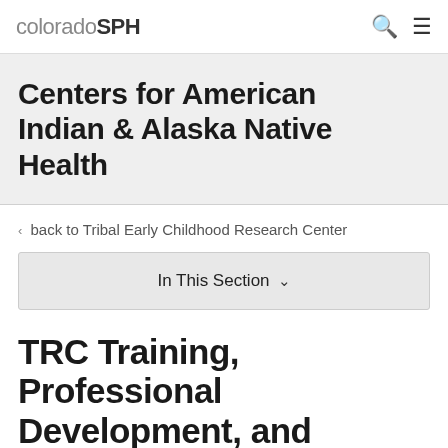coloradoSPH
Centers for American Indian & Alaska Native Health
< back to Tribal Early Childhood Research Center
In This Section
TRC Training, Professional Development, and Networking Opportunities